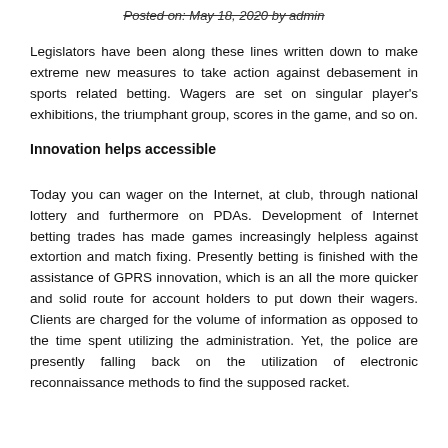Posted on: May 18, 2020 by admin
Legislators have been along these lines written down to make extreme new measures to take action against debasement in sports related betting. Wagers are set on singular player's exhibitions, the triumphant group, scores in the game, and so on.
Innovation helps accessible
Today you can wager on the Internet, at club, through national lottery and furthermore on PDAs. Development of Internet betting trades has made games increasingly helpless against extortion and match fixing. Presently betting is finished with the assistance of GPRS innovation, which is an all the more quicker and solid route for account holders to put down their wagers. Clients are charged for the volume of information as opposed to the time spent utilizing the administration. Yet, the police are presently falling back on the utilization of electronic reconnaissance methods to find the supposed racket.